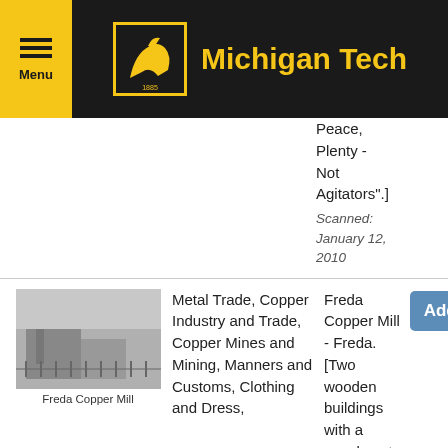Michigan Tech
Peace, Plenty - Not Agitators".]
Scanned: January 12, 2010
[Figure (photo): Black and white photograph of Freda Copper Mill, showing industrial buildings.]
Freda Copper Mill
Metal Trade, Copper Industry and Trade, Copper Mines and Mining, Manners and Customs, Clothing and Dress,
Freda Copper Mill - Freda. [Two wooden buildings with a wood post and wire fence in the foreground. A large steel smokestack is visible as are two women in fancy dress.]
Scanned: August 19, 2005
Metal Trade, Copper Industry
Miner Underground [A